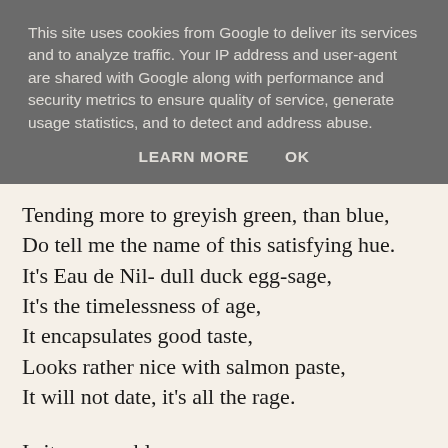This site uses cookies from Google to deliver its services and to analyze traffic. Your IP address and user-agent are shared with Google along with performance and security metrics to ensure quality of service, generate usage statistics, and to detect and address abuse.
LEARN MORE   OK
Tending more to greyish green, than blue,
Do tell me the name of this satisfying hue.
It's Eau de Nil- dull duck egg-sage,
It's the timelessness of age,
It encapsulates good taste,
Looks rather nice with salmon paste,
It will not date, it's all the rage.
Is it greeny- bluey grey,
Or does it only look that way
In the English light of early dawn?